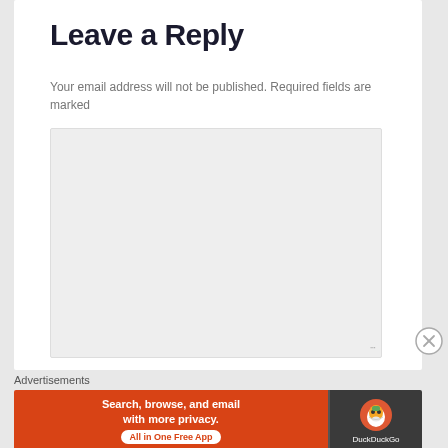Leave a Reply
Your email address will not be published. Required fields are marked
[Figure (other): Empty textarea input box with resize handle in bottom-right corner]
[Figure (other): Close/dismiss button (circled X)]
Advertisements
[Figure (other): DuckDuckGo advertisement banner. Left side: orange background with text 'Search, browse, and email with more privacy. All in One Free App'. Right side: dark background with DuckDuckGo duck logo and brand name.]